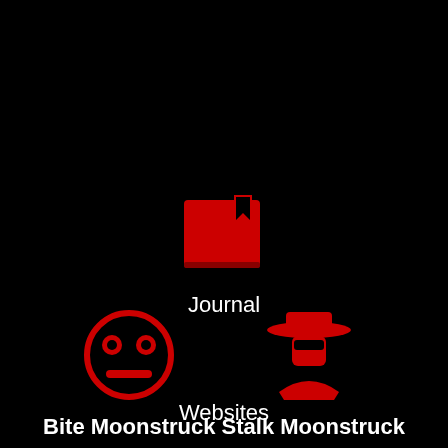[Figure (illustration): Red book/journal icon with bookmark tab on black background]
Journal
[Figure (illustration): Two red icons side by side: a moonstruck face emoji and a spy/stalker figure with hat, on black background]
Bite Moonstruck Stalk Moonstruck
Websites